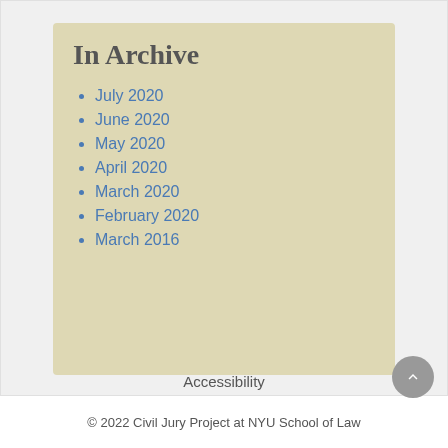Trials ›
In Archive
July 2020
June 2020
May 2020
April 2020
March 2020
February 2020
March 2016
Accessibility
© 2022 Civil Jury Project at NYU School of Law